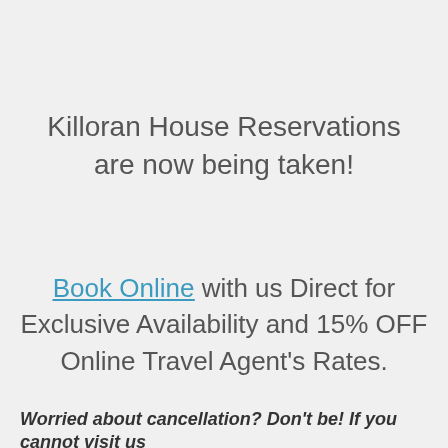Killoran House Reservations are now being taken!
Book Online with us Direct for Exclusive Availability and 15% OFF Online Travel Agent's Rates.
Worried about cancellation? Don't be! If you cannot visit us